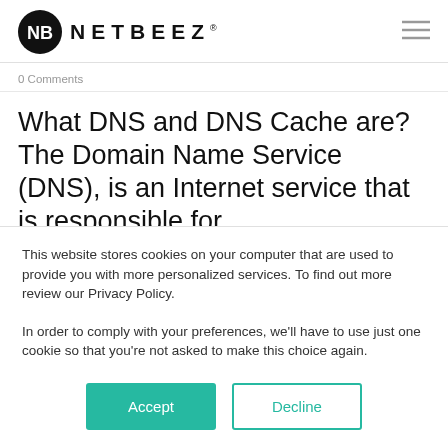[Figure (logo): NetBeez logo: black circle with NB monogram, followed by NETBEEZ text in bold spaced capitals with registered mark, and hamburger menu icon on right]
0 Comments
What DNS and DNS Cache are? The Domain Name Service (DNS), is an Internet service that is responsible for
This website stores cookies on your computer that are used to provide you with more personalized services. To find out more review our Privacy Policy.
In order to comply with your preferences, we'll have to use just one cookie so that you're not asked to make this choice again.
Accept   Decline